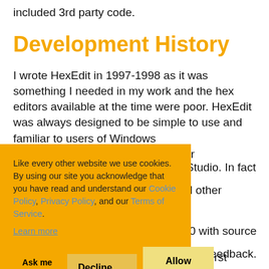included 3rd party code.
Development History
I wrote HexEdit in 1997-1998 as it was something I needed in my work and the hex editors available at the time were poor. HexEdit was always designed to be simple to use and familiar to users of Windows Studio. In fact d other .0 with source tive feedback. w to pay for it! Some of the acclaimed features of the first version
Like every other website we use cookies. By using our site you acknowledge that you have read and understand our Cookie Policy, Privacy Policy, and our Terms of Service. Learn more
Ask me later   Decline   Allow cookies